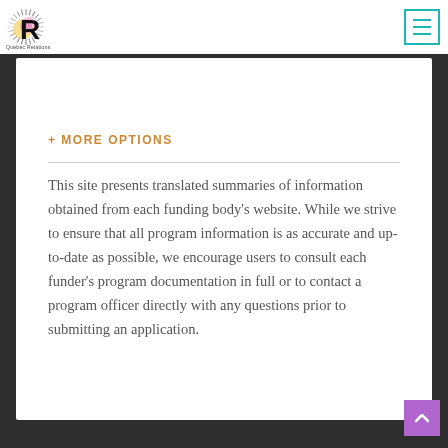[Figure (logo): Quebec Relations logo — sunburst/radial pattern in yellow-pink-purple with large R letter and text 'Quebec Relations']
[Figure (other): Hamburger menu button with teal/cyan border and three teal horizontal lines]
+ MORE OPTIONS
This site presents translated summaries of information obtained from each funding body's website. While we strive to ensure that all program information is as accurate and up-to-date as possible, we encourage users to consult each funder's program documentation in full or to contact a program officer directly with any questions prior to submitting an application.
[Figure (other): Purple/violet back-to-top button with white upward chevron arrow]